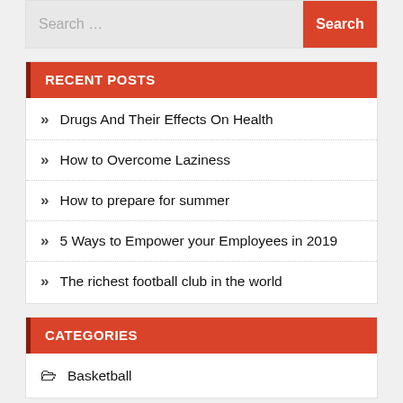Search …
RECENT POSTS
Drugs And Their Effects On Health
How to Overcome Laziness
How to prepare for summer
5 Ways to Empower your Employees in 2019
The richest football club in the world
CATEGORIES
Basketball